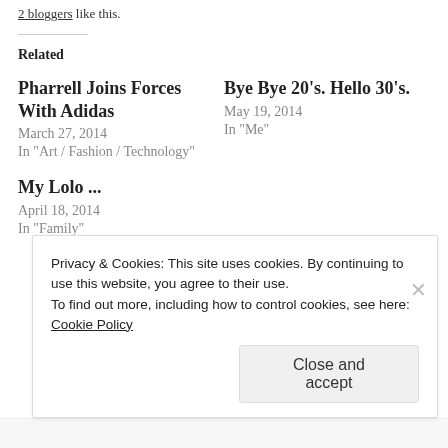2 bloggers like this.
Related
Pharrell Joins Forces With Adidas
March 27, 2014
In "Art / Fashion / Technology"
Bye Bye 20's. Hello 30's.
May 19, 2014
In "Me"
My Lolo ...
April 18, 2014
In "Family"
Privacy & Cookies: This site uses cookies. By continuing to use this website, you agree to their use.
To find out more, including how to control cookies, see here: Cookie Policy
Close and accept